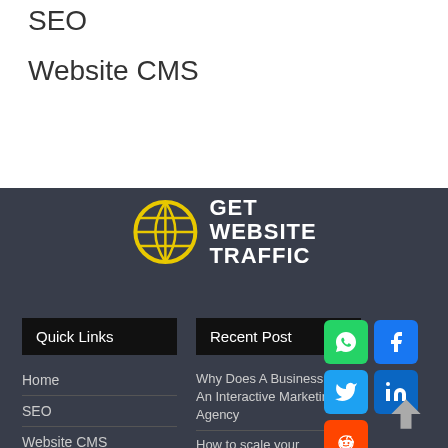SEO
Website CMS
[Figure (logo): Get Website Traffic logo: yellow globe icon with grid lines, white bold text reading GET WEBSITE TRAFFIC on dark background]
Quick Links
Home
SEO
Website CMS
Digital Marketing
Recent Post
Why Does A Business Need An Interactive Marketing Agency
How to scale your
[Figure (infographic): Social media icons: WhatsApp (green), Facebook (blue), Twitter (light blue), LinkedIn (blue), Reddit (orange-red)]